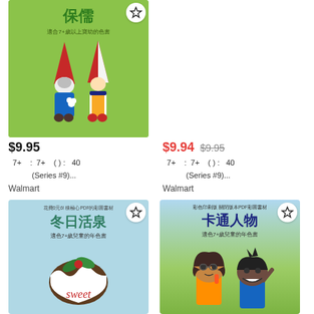[Figure (illustration): Left top: Children's coloring book cover with green background showing gnome/dwarf characters with red hats, Chinese title 保儒]
$9.95
7+  :  7+  ( ) :  40
(Series #9)...
Walmart
[Figure (illustration): Right top: Children's coloring book cover with blue checkered background showing egg characters in a cup, Chinese title 十食, with SAVE $0.01 badge]
$9.94  $9.95
7+  :  7+  ( ) :  40
(Series #9)...
Walmart
[Figure (illustration): Left bottom: Children's coloring book cover with light blue background showing Christmas pudding and cursive 'sweet', Chinese title 冬日活泉]
[Figure (illustration): Right bottom: Children's coloring book cover with green/blue background showing cartoon teenage characters, Chinese title 卡通人物]